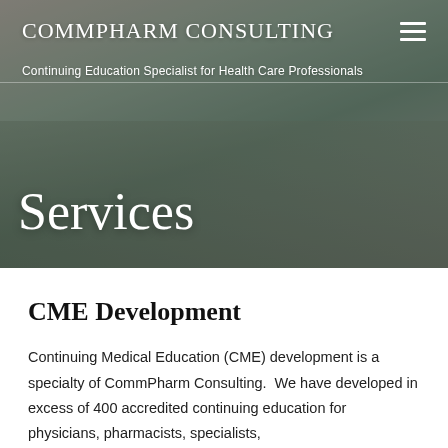COMMPHARM CONSULTING
Continuing Education Specialist for Health Care Professionals
Services
CME Development
Continuing Medical Education (CME) development is a specialty of CommPharm Consulting.  We have developed in excess of 400 accredited continuing education for physicians, pharmacists, specialists,